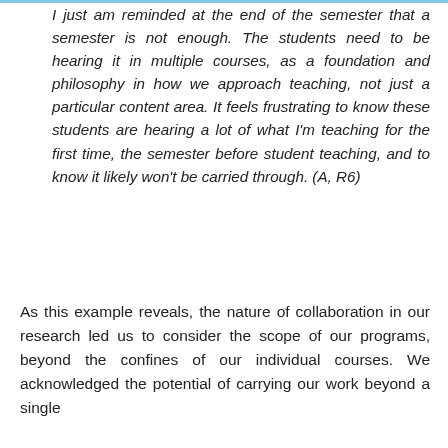I just am reminded at the end of the semester that a semester is not enough. The students need to be hearing it in multiple courses, as a foundation and philosophy in how we approach teaching, not just a particular content area. It feels frustrating to know these students are hearing a lot of what I'm teaching for the first time, the semester before student teaching, and to know it likely won't be carried through. (A, R6)
As this example reveals, the nature of collaboration in our research led us to consider the scope of our programs, beyond the confines of our individual courses. We acknowledged the potential of carrying our work beyond a single